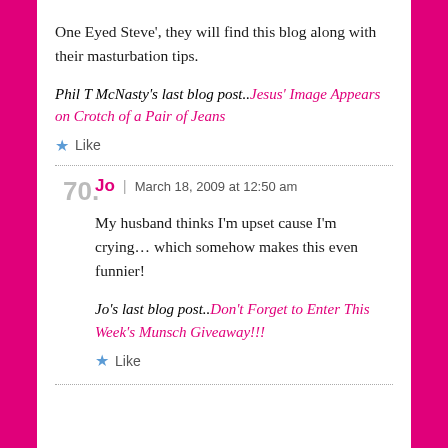One Eyed Steve', they will find this blog along with their masturbation tips.
Phil T McNasty's last blog post..Jesus' Image Appears on Crotch of a Pair of Jeans
Like
70. Jo | March 18, 2009 at 12:50 am
My husband thinks I'm upset cause I'm crying… which somehow makes this even funnier!
Jo's last blog post..Don't Forget to Enter This Week's Munsch Giveaway!!!
Like